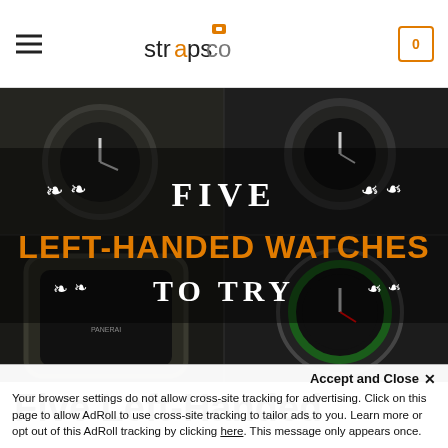strapsco — navigation header with hamburger menu and cart
[Figure (illustration): Hero banner image showing four watches in dark background with text overlay: 'FIVE LEFT-HANDED WATCHES TO TRY' — 'FIVE' and 'TO TRY' in white serif, 'LEFT-HANDED WATCHES' in bold orange, with decorative scroll flourishes on either side]
Five Left-Handed
Your browser settings do not allow cross-site tracking for advertising. Click on this page to allow AdRoll to use cross-site tracking to tailor ads to you. Learn more or opt out of this AdRoll tracking by clicking here. This message only appears once.